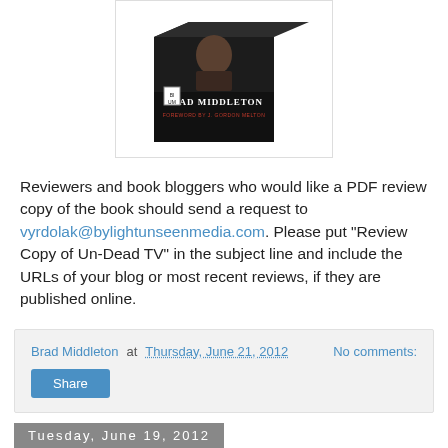[Figure (photo): Book cover image of Brad Middleton book with dark cover, showing 'BRAD MIDDLETON' and 'FOREWORD BY J. GORDON MELTON' text, displayed as a 3D box/book shape]
Reviewers and book bloggers who would like a PDF review copy of the book should send a request to vyrdolak@bylightunseenmedia.com. Please put "Review Copy of Un-Dead TV" in the subject line and include the URLs of your blog or most recent reviews, if they are published online.
Brad Middleton at Thursday, June 21, 2012   No comments:
Share
Tuesday, June 19, 2012